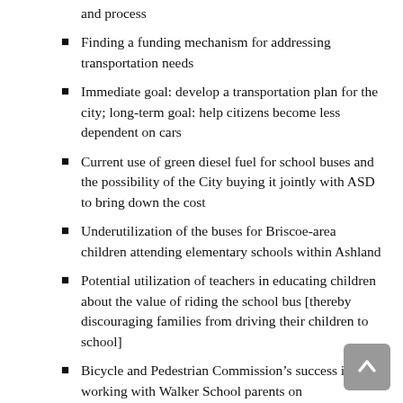and process
Finding a funding mechanism for addressing transportation needs
Immediate goal: develop a transportation plan for the city; long-term goal: help citizens become less dependent on cars
Current use of green diesel fuel for school buses and the possibility of the City buying it jointly with ASD to bring down the cost
Underutilization of the buses for Briscoe-area children attending elementary schools within Ashland
Potential utilization of teachers in educating children about the value of riding the school bus [thereby discouraging families from driving their children to school]
Bicycle and Pedestrian Commission’s success in working with Walker School parents on